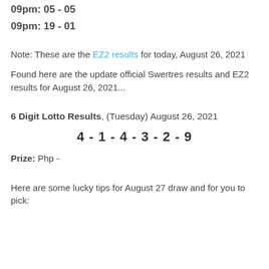09pm: 05 - 05
09pm: 19 - 01
Note: These are the EZ2 results for today, August 26, 2021
Found here are the update official Swertres results and EZ2 results for August 26, 2021...
6 Digit Lotto Results, (Tuesday) August 26, 2021
4 - 1 - 4 - 3 - 2 - 9
Prize: Php -
Here are some lucky tips for August 27 draw and for you to pick: